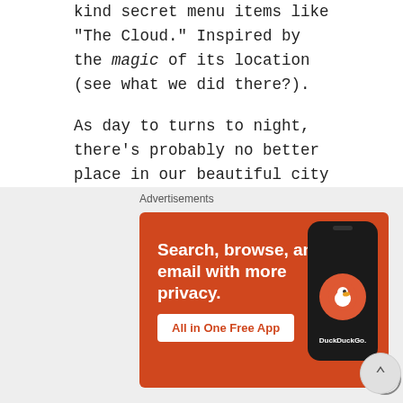kind secret menu items like "The Cloud." Inspired by the magic of its location (see what we did there?).
As day to turns to night, there's probably no better place in our beautiful city where you can take in a gorgeous sunset. From the open air deck, you'll be able to take in some of the most iconic landmarks in the city including the Amway Center, Exploria Stadium and other areas of downtown Orlando. SkyBar is by far one of the best places in Orlando to enjoy good times with good people while drinking in spectacular views of the place we call home.
[Figure (infographic): DuckDuckGo advertisement banner with orange background. Text reads 'Search, browse, and email with more privacy. All in One Free App' with DuckDuckGo logo and phone graphic.]